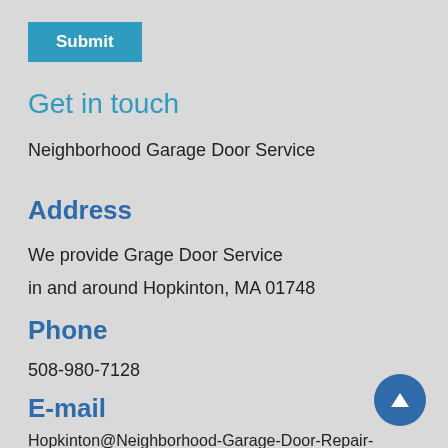Submit
Get in touch
Neighborhood Garage Door Service
Address
We provide Grage Door Service
in and around Hopkinton, MA 01748
Phone
508-980-7128
E-mail
Hopkinton@Neighborhood-Garage-Door-Repair-Service.com